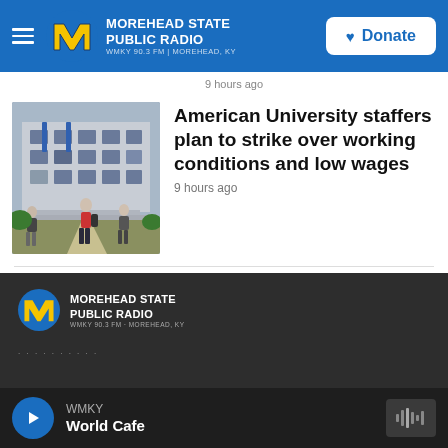MOREHEAD STATE PUBLIC RADIO WMKY 90.3 FM | MOREHEAD, KY
9 hours ago
American University staffers plan to strike over working conditions and low wages
9 hours ago
[Figure (photo): Exterior of American University building with masked students walking on campus path]
MOREHEAD STATE PUBLIC RADIO WMKY 90.3 FM | MOREHEAD, KY — WMKY World Cafe player bar